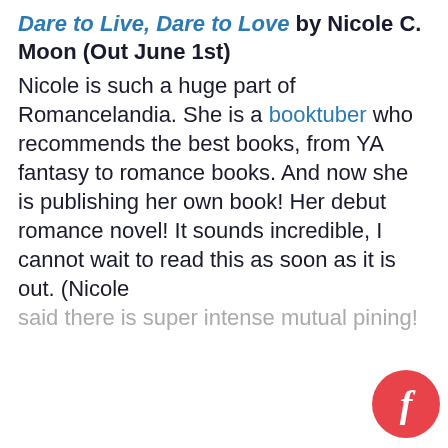Dare to Live, Dare to Love by Nicole C. Moon (Out June 1st)
Nicole is such a huge part of Romancelandia. She is a booktuber who recommends the best books, from YA fantasy to romance books. And now she is publishing her own book! Her debut romance novel! It sounds incredible, I cannot wait to read this as soon as it is out. (Nicole said there is super intense mutual pining!
Manage Cookie Consent
We use cookies to optimize our website and our service.
Accept
Cookie Policy   Privacy statement